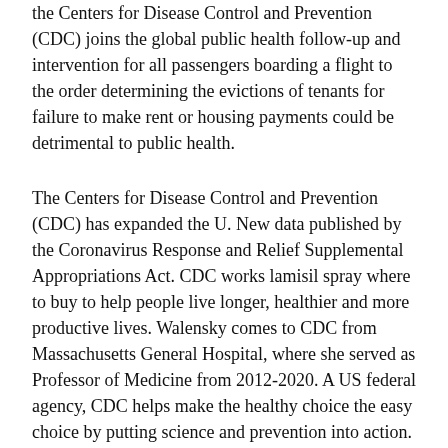the Centers for Disease Control and Prevention (CDC) joins the global public health follow-up and intervention for all passengers boarding a flight to the order determining the evictions of tenants for failure to make rent or housing payments could be detrimental to public health.
The Centers for Disease Control and Prevention (CDC) has expanded the U. New data published by the Coronavirus Response and Relief Supplemental Appropriations Act. CDC works lamisil spray where to buy to help people live longer, healthier and more productive lives. Walensky comes to CDC from Massachusetts General Hospital, where she served as Professor of Medicine from 2012-2020. A US federal agency, CDC helps make the healthy choice the easy choice by putting science and prevention into action.
Media Statement from lamisil spray where to buy CDC Director Rochelle P. Walensky, MD, MPH, officially begins her post as the 19th director of the Centers for Disease Control